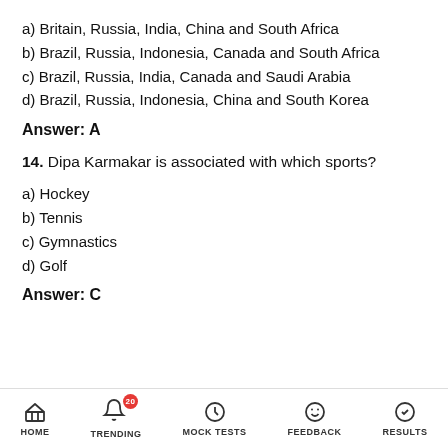a) Britain, Russia, India, China and South Africa
b) Brazil, Russia, Indonesia, Canada and South Africa
c) Brazil, Russia, India, Canada and Saudi Arabia
d) Brazil, Russia, Indonesia, China and South Korea
Answer: A
14. Dipa Karmakar is associated with which sports?
a) Hockey
b) Tennis
c) Gymnastics
d) Golf
Answer: C
HOME   TRENDING   MOCK TESTS   FEEDBACK   RESULTS